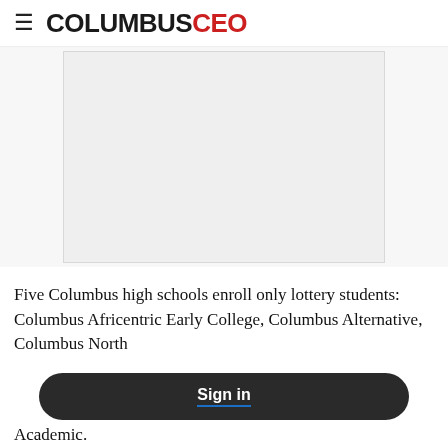COLUMBUSCEO
[Figure (other): Gray advertisement placeholder box]
Five Columbus high schools enroll only lottery students: Columbus Africentric Early College, Columbus Alternative, Columbus North International, Big Walnut and Groveport Madison Academic.